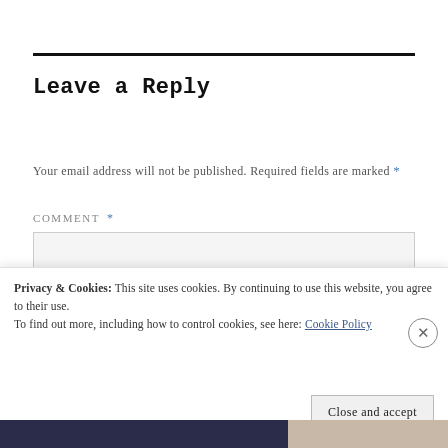Leave a Reply
Your email address will not be published. Required fields are marked *
COMMENT *
Privacy & Cookies: This site uses cookies. By continuing to use this website, you agree to their use.
To find out more, including how to control cookies, see here: Cookie Policy
Close and accept